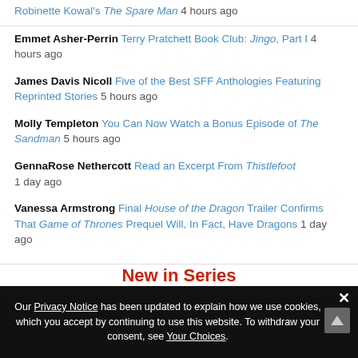Robinette Kowal's The Spare Man 4 hours ago
Emmet Asher-Perrin Terry Pratchett Book Club: Jingo, Part I 4 hours ago
James Davis Nicoll Five of the Best SFF Anthologies Featuring Reprinted Stories 5 hours ago
Molly Templeton You Can Now Watch a Bonus Episode of The Sandman 5 hours ago
GennaRose Nethercott Read an Excerpt From Thistlefoot 1 day ago
Vanessa Armstrong Final House of the Dragon Trailer Confirms That Game of Thrones Prequel Will, In Fact, Have Dragons 1 day ago
New in Series
Our Privacy Notice has been updated to explain how we use cookies, which you accept by continuing to use this website. To withdraw your consent, see Your Choices.